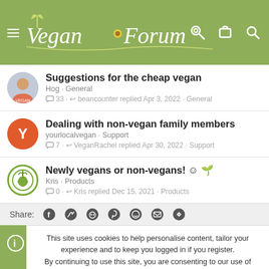[Figure (screenshot): Vegan Forum website header with logo, hamburger menu, and icons for key, cart, and search on green background]
Suggestions for the cheap vegan
Hog · General
🗨 33 · ↩ beancounter replied Apr 3, 2022 · General
Dealing with non-vegan family members
yourlocalvegan · Support
🗨 7 · ↩ VeganRachel replied Apr 30, 2022 · Support
Newly vegans or non-vegans! 😊 🌱
Kris · Products
🗨 0 · ↩ Kris replied Dec 15, 2021 · Products
Share:
This site uses cookies to help personalise content, tailor your experience and to keep you logged in if you register.
By continuing to use this site, you are consenting to our use of cookies.
✓ ACCEPT
LEARN MORE...